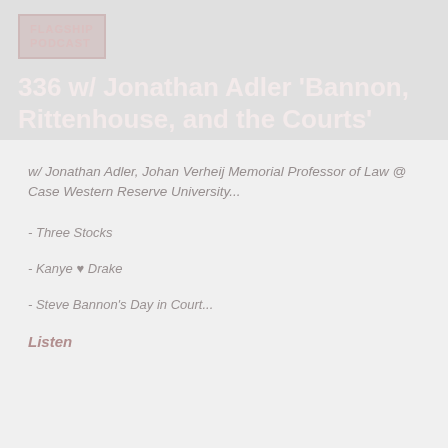[Figure (logo): Rectangular logo box with stylized text, light pinkish-red on gray background]
336 w/ Jonathan Adler 'Bannon, Rittenhouse, and the Courts'
w/ Jonathan Adler, Johan Verheij Memorial Professor of Law @ Case Western Reserve University...
- Three Stocks
- Kanye ♥ Drake
- Steve Bannon's Day in Court...
Listen